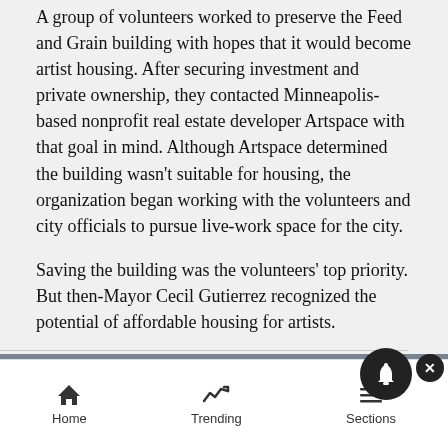A group of volunteers worked to preserve the Feed and Grain building with hopes that it would become artist housing. After securing investment and private ownership, they contacted Minneapolis-based nonprofit real estate developer Artspace with that goal in mind. Although Artspace determined the building wasn't suitable for housing, the organization began working with the volunteers and city officials to pursue live-work space for the city.
Saving the building was the volunteers' top priority. But then-Mayor Cecil Gutierrez recognized the potential of affordable housing for artists.
[Figure (photo): Ulta Beauty advertisement banner showing makeup images including lips, brushes, eyes, Ulta logo, and SHOP NOW call to action]
Home   Trending   Sections